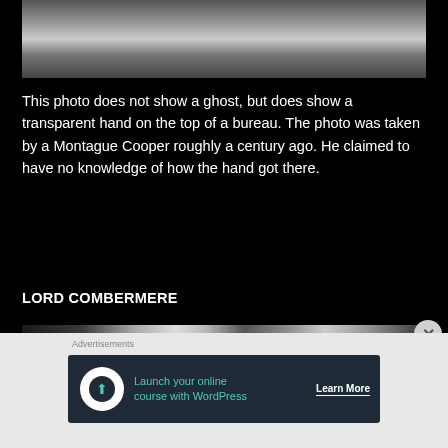[Figure (photo): Cropped black and white photograph showing partial body on a surface, possibly showing a hand on a bureau]
This photo does not show a ghost, but does show a transparent hand on the top of a bureau. The photo was taken by a Montague Cooper roughly a century ago. He claimed to have no knowledge of how the hand got there.
LORD COMBERMERE
[Figure (photo): Black and white photograph showing an interior room scene, part of the Lord Combermere ghost photo]
Advertisements
[Figure (screenshot): Advertisement banner: Launch your online course with WordPress — Learn More]